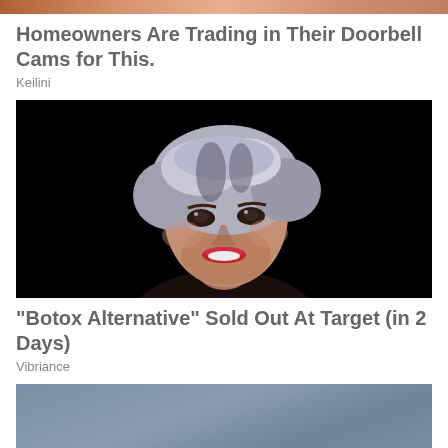[Figure (photo): Partial image strip at top, showing warm orange/skin tones — cropped advertisement photo]
Homeowners Are Trading in Their Doorbell Cams for This.
Keilini
[Figure (photo): Portrait of a middle-aged woman with short silver-gray hair, smiling, against a black background. Red lipstick, dark eye makeup.]
"Botox Alternative" Sold Out At Target (in 2 Days)
Vibriance
[Figure (photo): Partial image at bottom with muted blue-gray tones, cropped advertisement photo]